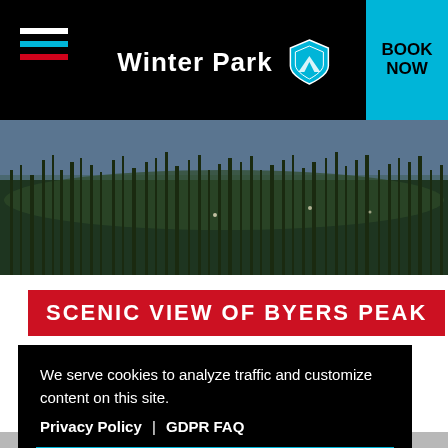Winter Park
[Figure (photo): Scenic outdoor photo showing tall reeds and grasses with a dark sky and water in the background — scenic view of Byers Peak area]
SCENIC VIEW OF BYERS PEAK
We serve cookies to analyze traffic and customize content on this site.
Privacy Policy | GDPR FAQ
GOT IT!